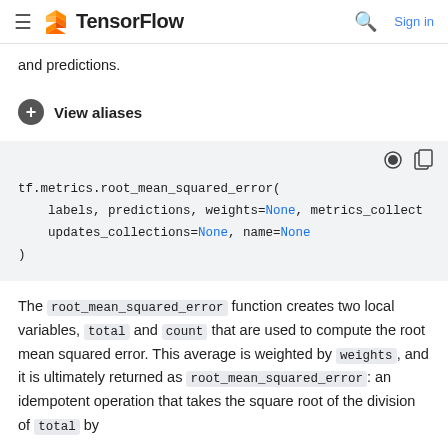TensorFlow
and predictions.
View aliases
tf.metrics.root_mean_squared_error(
    labels, predictions, weights=None, metrics_collect
    updates_collections=None, name=None
)
The root_mean_squared_error function creates two local variables, total and count that are used to compute the root mean squared error. This average is weighted by weights, and it is ultimately returned as root_mean_squared_error: an idempotent operation that takes the square root of the division of total by